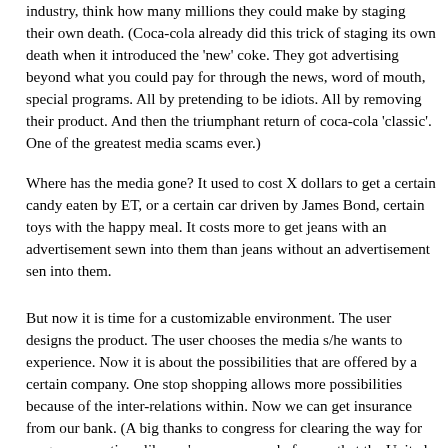industry, think how many millions they could make by staging their own death. (Coca-cola already did this trick of staging its own death when it introduced the 'new' coke. They got advertising beyond what you could pay for through the news, word of mouth, special programs. All by pretending to be idiots. All by removing their product. And then the triumphant return of coca-cola 'classic'. One of the greatest media scams ever.)
Where has the media gone? It used to cost X dollars to get a certain candy eaten by ET, or a certain car driven by James Bond, certain toys with the happy meal. It costs more to get jeans with an advertisement sewn into them than jeans without an advertisement sen into them.
But now it is time for a customizable environment. The user designs the product. The user chooses the media s/he wants to experience. Now it is about the possibilities that are offered by a certain company. One stop shopping allows more possibilities because of the inter-relations within. Now we can get insurance from our bank. (A big thanks to congress for clearing the way for mega-corporations like we've never seen before so that the United States can expand its international monopoly of money transactions through the sale of stocks, insurance, loans, etc. through goliath banks with more money than almost any countries